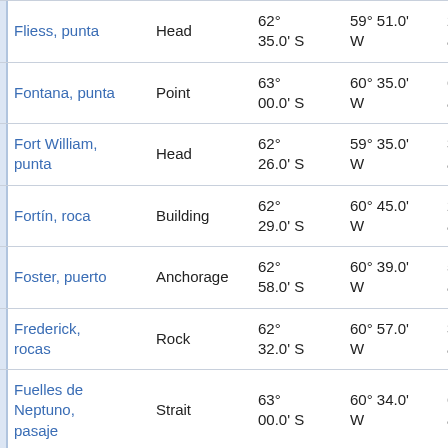| Name | Type | Latitude | Longitude | Distance/Bearing |
| --- | --- | --- | --- | --- |
| Fliess, punta | Head | 62° 35.0' S | 59° 51.0' W | 28.0 … at 118… |
| Fontana, punta | Point | 63° 00.0' S | 60° 35.0' W | 60.7 … at 192… |
| Fort William, punta | Head | 62° 26.0' S | 59° 35.0' W | 38.8 … at 85°… |
| Fortín, roca | Building | 62° 29.0' S | 60° 45.0' W | 21.5 … at 265… |
| Foster, puerto | Anchorage | 62° 58.0' S | 60° 39.0' W | 57.9 … at 196… |
| Frederick, rocas | Rock | 62° 32.0' S | 60° 57.0' W | 32.5 … at 257… |
| Fuelles de Neptuno, pasaje | Strait | 63° 00.0' S | 60° 34.0' W | 60.5 … at 191… |